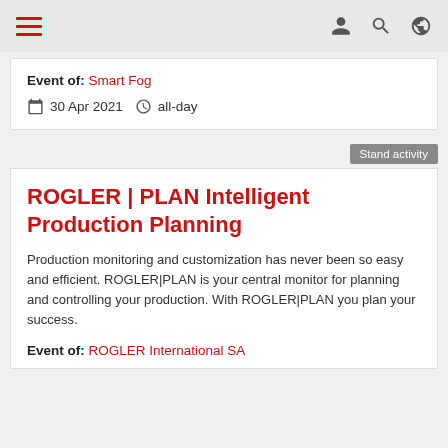Navigation bar with hamburger menu and icons
Event of: Smart Fog
30 Apr 2021  all-day
Stand activity
ROGLER | PLAN Intelligent Production Planning
Production monitoring and customization has never been so easy and efficient. ROGLER|PLAN is your central monitor for planning and controlling your production. With ROGLER|PLAN you plan your success.
Event of: ROGLER International SA